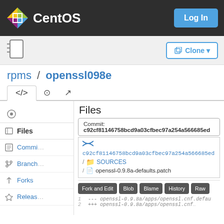CentOS — Log In
[Figure (screenshot): CentOS logo — colorful grid icon followed by 'CentOS' text in white on dark background]
rpms / openssl098e
Files
Commit: c92cf81146758bcd9a03cfbec97a254a566685ed
c92cf81146758bcd9a03cfbec97a254a566685ed / SOURCES / openssl-0.9.8a-defaults.patch
Fork and Edit  Blob  Blame  History  Raw
1   --- openssl-0.9.8a/apps/openssl.cnf.defau
2   +++ openssl-0.9.8a/apps/openssl.cnf...